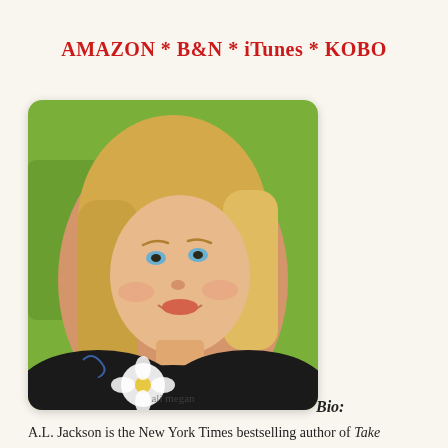AMAZON * B&N * iTunes * KOBO
[Figure (photo): Portrait photo of a blonde woman smiling, wearing a black and white floral top, with a green background. Watermark text 'ali megan' in lower right corner.]
Bio:
A.L. Jackson is the New York Times bestselling author of Take